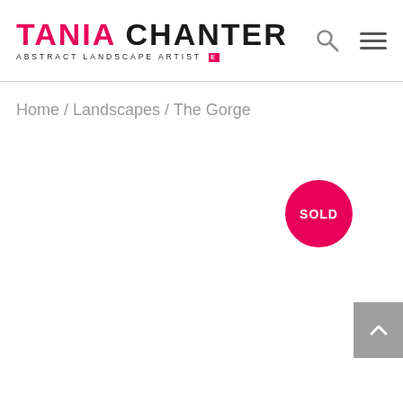TANIA CHANTER ABSTRACT LANDSCAPE ARTIST
Home / Landscapes / The Gorge
[Figure (other): Pink circular SOLD badge/stamp]
[Figure (other): Gray back-to-top button with upward chevron arrow]